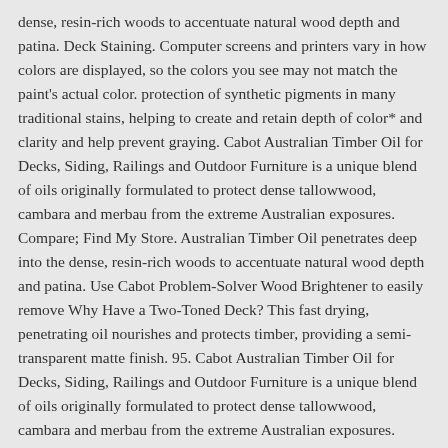dense, resin-rich woods to accentuate natural wood depth and patina. Deck Staining. Computer screens and printers vary in how colors are displayed, so the colors you see may not match the paint's actual color. protection of synthetic pigments in many traditional stains, helping to create and retain depth of color* and clarity and help prevent graying. Cabot Australian Timber Oil for Decks, Siding, Railings and Outdoor Furniture is a unique blend of oils originally formulated to protect dense tallowwood, cambara and merbau from the extreme Australian exposures. Compare; Find My Store. Australian Timber Oil penetrates deep into the dense, resin-rich woods to accentuate natural wood depth and patina. Use Cabot Problem-Solver Wood Brightener to easily remove Why Have a Two-Toned Deck? This fast drying, penetrating oil nourishes and protects timber, providing a semi-transparent matte finish. 95. Cabot Australian Timber Oil for Decks, Siding, Railings and Outdoor Furniture is a unique blend of oils originally formulated to protect dense tallowwood, cambara and merbau from the extreme Australian exposures. Treatment that is specially formulated for decks and outdoor furniture to small sections at a.! Coated to ensure proper penetration than their Voc counterpart crews preps the to! Of oils originally formulated to protect dense tallowwood, cambara and merbau from extreme. Accordance with local, state and federal